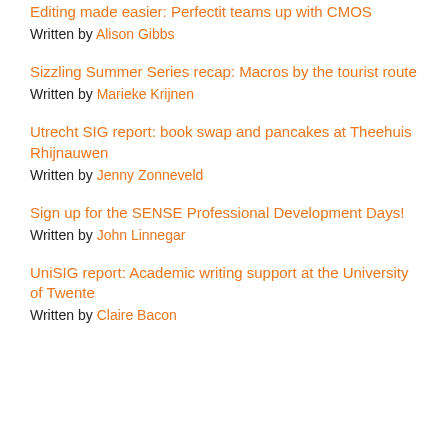Editing made easier: Perfectit teams up with CMOS
Written by Alison Gibbs
Sizzling Summer Series recap: Macros by the tourist route
Written by Marieke Krijnen
Utrecht SIG report: book swap and pancakes at Theehuis Rhijnauwen
Written by Jenny Zonneveld
Sign up for the SENSE Professional Development Days!
Written by John Linnegar
UniSIG report: Academic writing support at the University of Twente
Written by Claire Bacon